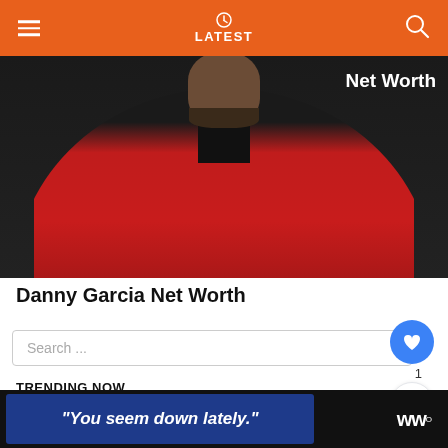LATEST
[Figure (photo): Person wearing red jacket and black turtleneck with 'Net Worth' text overlay in upper right]
Danny Garcia Net Worth
Search ...
1
TRENDING NOW
WHAT'S NEXT → Marvin Sapp Net Worth...
Floyd Mayweather: Boxing Career, Controversies & Net Worth
[Figure (photo): Floyd Mayweather thumbnail]
"You seem down lately."